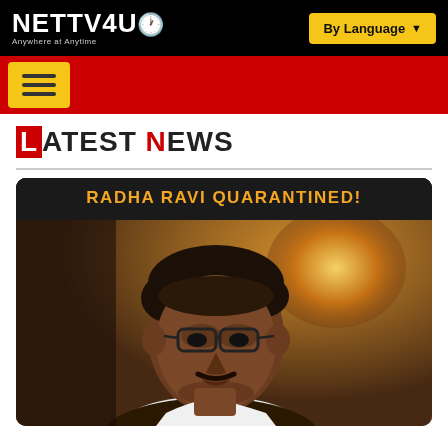NETTV4U — Anywhere at Anytime | By Language
LATEST NEWS
[Figure (photo): News thumbnail image showing actor Radha Ravi with headline 'RADHA RAVI QUARANTINED!' overlaid on dark banner at top. A middle-aged Indian man with glasses and mustache is shown in profile/three-quarter view against a warm amber background.]